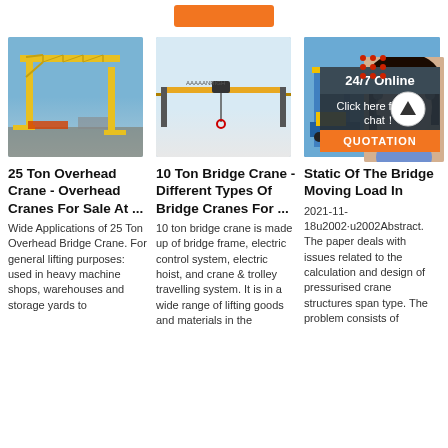[Figure (photo): Orange/amber button at top]
[Figure (photo): Yellow gantry crane on blue sky background]
25 Ton Overhead Crane - Overhead Cranes For Sale At ...
Wide Applications of 25 Ton Overhead Bridge Crane. For general lifting purposes: used in heavy machine shops, warehouses and storage yards to
[Figure (photo): 10 ton single girder bridge crane on light background]
10 Ton Bridge Crane - Different Types Of Bridge Cranes For ...
10 ton bridge crane is made up of bridge frame, electric control system, electric hoist, and crane & trolley travelling system. It is in a wide range of lifting goods and materials in the
[Figure (photo): Blue industrial crane; plus 24/7 Online overlay with woman wearing headset; quotation button; top arrow icon; red dots]
Static Of The Bridge Moving Load In
2021-11-18u2002·u2002Abstract. The paper deals with issues related to the calculation and design of pressurised crane structures span type. The problem consists of